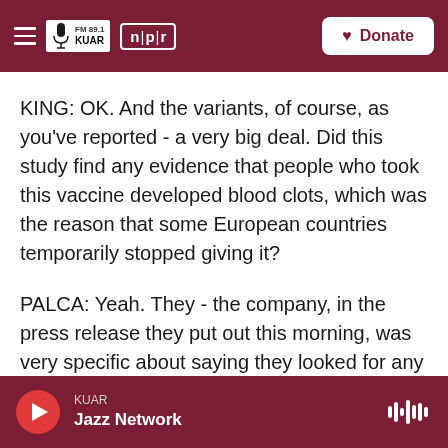FM 89.1 KUAR | NPR | Donate
KING: OK. And the variants, of course, as you've reported - a very big deal. Did this study find any evidence that people who took this vaccine developed blood clots, which was the reason that some European countries temporarily stopped giving it?
PALCA: Yeah. They - the company, in the press release they put out this morning, was very specific about saying they looked for any indication of this in the 21,000 or so people who got the vaccine, and they did not see any. But I should point out that this
KUAR | Jazz Network